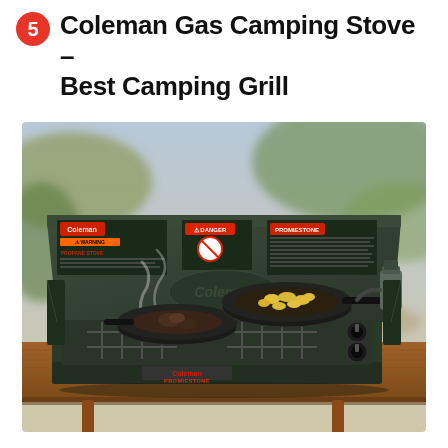5 Coleman Gas Camping Stove – Best Camping Grill
[Figure (photo): A Coleman Propane Stove (PromeStone model) open on a wooden picnic table outdoors, with two cast iron pans on the burners cooking food, surrounded by a blurred natural background.]